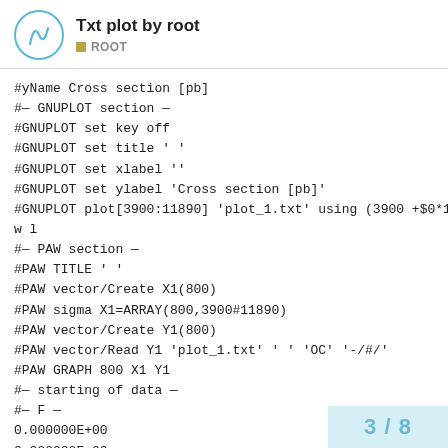Txt plot by root | ROOT
#yName Cross section [pb]
#— GNUPLOT section —
#GNUPLOT set key off
#GNUPLOT set title ' '
#GNUPLOT set xlabel ''
#GNUPLOT set ylabel 'Cross section [pb]'
#GNUPLOT plot[3900:11890] 'plot_1.txt' using (3900 +$0*10):1 w l
#— PAW section —
#PAW TITLE ' '
#PAW vector/Create X1(800)
#PAW sigma X1=ARRAY(800,3900#11890)
#PAW vector/Create Y1(800)
#PAW vector/Read Y1 'plot_1.txt' ' ' 'OC' '-/#/'
#PAW GRAPH 800 X1 Y1
#— starting of data —
#— F —
0.000000E+00
0.000000E+00
3 / 8